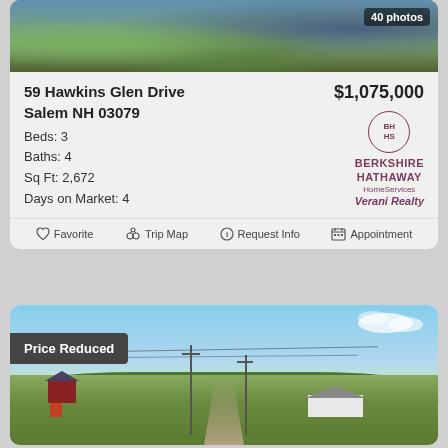[Figure (photo): Aerial/overhead photo of property at 59 Hawkins Glen Drive with green landscape]
40 photos
59 Hawkins Glen Drive
Salem NH 03079
Beds: 3
Baths: 4
Sq Ft: 2,672
Days on Market: 4
$1,075,000
[Figure (logo): Berkshire Hathaway HomeServices Verani Realty logo with BH circle emblem]
Favorite  Trip Map  Request Info  Appointment
[Figure (photo): Rural property photo showing barn, house, road, utility poles, green fields and blue sky with Price Reduced badge]
Price Reduced